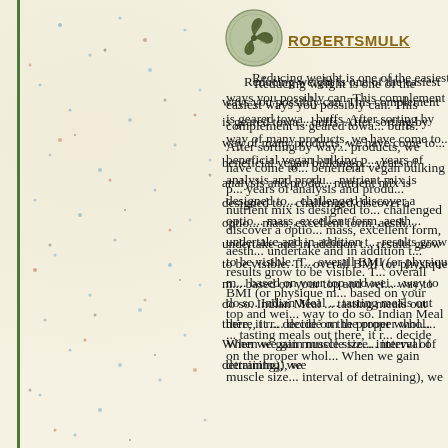ROBERTSMULK
[Figure (logo): Circular triskelion/triskele symbol logo in dark olive/bronze color]
Reducing weight is one of the easiest ways you possibly can. This complement is geared towards fitness buffs. After sorting by way of many products, we have come to the most beneficial vegan bulking p... years of analysis and produ... nutrient mix is designed to... challenged discover a opti... mass, excellent form, aesth... undertake and in addition t... results grow to be visible. ... overall BMI (or physique m... based on your top and wei... way to do so. Indian Meal ... tasting meals out there, it r... decide on the proper whol... When we gain muscle size ... interval of detraining), we